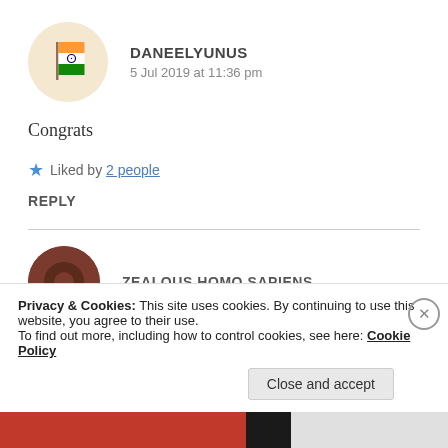[Figure (illustration): Circular avatar with Indian flag illustration on light background]
DANEELYUNUS
5 Jul 2019 at 11:36 pm
Congrats
★ Liked by 2 people
REPLY
[Figure (photo): Circular avatar with dark brown/maroon donut shape]
ZEALOUS HOMO SAPIENS
Privacy & Cookies: This site uses cookies. By continuing to use this website, you agree to their use.
To find out more, including how to control cookies, see here: Cookie Policy
Close and accept